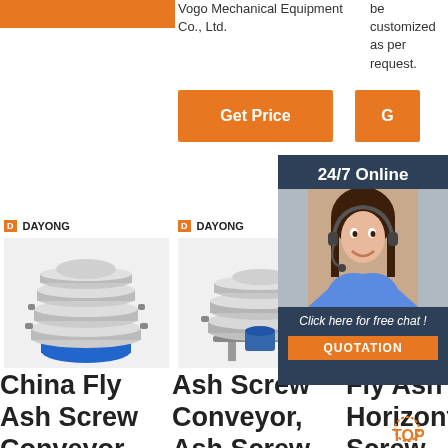[Figure (other): Orange rectangular bar top left]
Vogo Mechanical Equipment Co., Ltd.
be customized as per request.
[Figure (other): Orange 'Get Price' button]
[Figure (other): Partial orange 'G' button]
[Figure (other): 24/7 Online chat popup with woman wearing headset, 'Click here for free chat!' and QUOTATION button]
[Figure (photo): DAYONG branded circular vibratory sieve/screener machine with multiple tiers, blue base]
[Figure (photo): DAYONG branded circular industrial sieve machine, stainless steel]
China Fly Ash Screw Conveyor, Fly Ash
Ash Screw Conveyor, Ash Screw Conveyor
Fly Ash Horizontal Screw Conveyor
[Figure (logo): TOP badge logo]